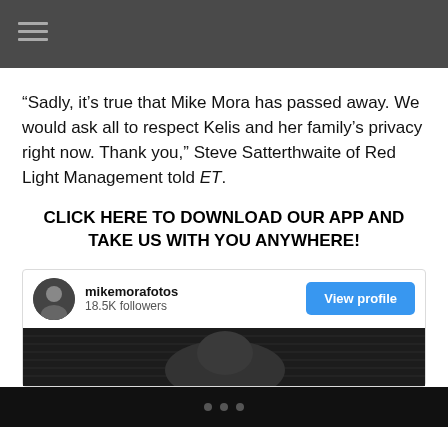Navigation menu (hamburger icon)
“Sadly, it’s true that Mike Mora has passed away. We would ask all to respect Kelis and her family’s privacy right now. Thank you,” Steve Satterthwaite of Red Light Management told ET.
CLICK HERE TO DOWNLOAD OUR APP AND TAKE US WITH YOU ANYWHERE!
[Figure (other): Instagram profile card for mikemorafotos showing 18.5K followers with a View profile button and a partial black-and-white photo below]